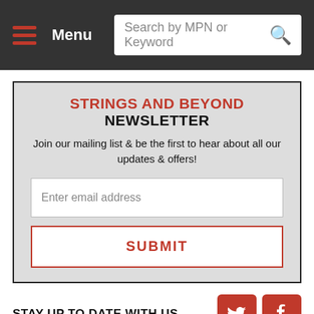Menu | Search by MPN or Keyword
STRINGS AND BEYOND NEWSLETTER
Join our mailing list & be the first to hear about all our updates & offers!
Enter email address
SUBMIT
STAY UP TO DATE WITH US
[Figure (logo): Twitter and Facebook social media icons in red square buttons]
4.9 ★★★★★ Google Customer Reviews
ABOUT